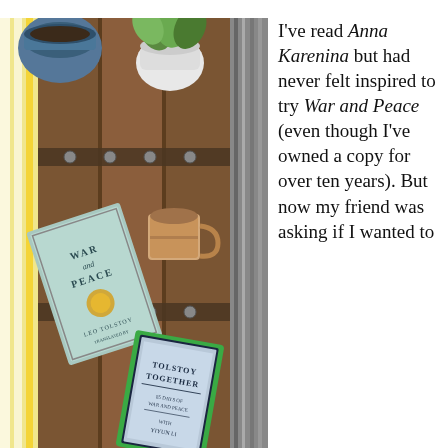[Figure (photo): Overhead photo of two books — 'War and Peace' by Leo Tolstoy and 'Tolstoy Together: 85 Days of War and Peace with Yiyun Li' — lying on a wooden trunk/chest with metal hardware. A cup of coffee and two potted plants are also visible. A yellow and white striped rug and a gray woven textile are at the edges.]
I've read Anna Karenina but had never felt inspired to try War and Peace (even though I've owned a copy for over ten years). But now my friend was asking if I wanted to